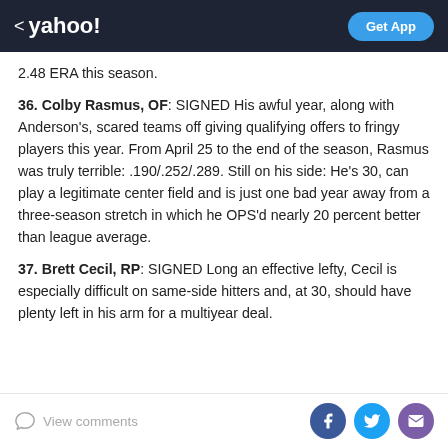< yahoo!  Get App
2.48 ERA this season.
36. Colby Rasmus, OF: SIGNED His awful year, along with Anderson's, scared teams off giving qualifying offers to fringy players this year. From April 25 to the end of the season, Rasmus was truly terrible: .190/.252/.289. Still on his side: He's 30, can play a legitimate center field and is just one bad year away from a three-season stretch in which he OPS'd nearly 20 percent better than league average.
37. Brett Cecil, RP: SIGNED Long an effective lefty, Cecil is especially difficult on same-side hitters and, at 30, should have plenty left in his arm for a multiyear deal.
View comments